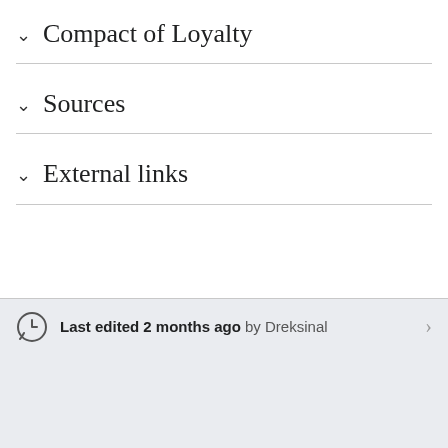Compact of Loyalty
Sources
External links
Last edited 2 months ago by Dreksinal